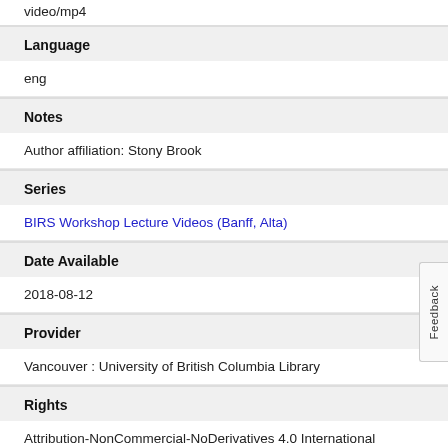video/mp4
Language
eng
Notes
Author affiliation: Stony Brook
Series
BIRS Workshop Lecture Videos (Banff, Alta)
Date Available
2018-08-12
Provider
Vancouver : University of British Columbia Library
Rights
Attribution-NonCommercial-NoDerivatives 4.0 International
DOI
10.14288/1.0370971